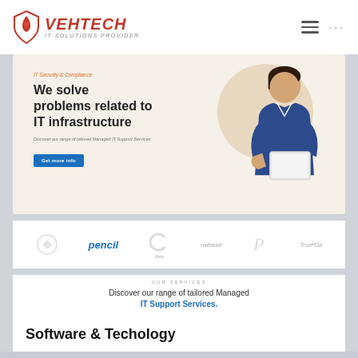[Figure (screenshot): VEHTECH IT Solutions Provider website screenshot showing navbar with logo, hero section with IT infrastructure text and person holding tablet, partner logos, services section, and Software & Technology heading]
VEHTECH IT SOLUTIONS PROVIDER
IT Security & Compliance
We solve problems related to IT infrastructure
Discover our range of tailored Managed IT Support Services
Get more info
pencil
OUR SERVICES
Discover our range of tailored Managed IT Support Services.
Software & Techology